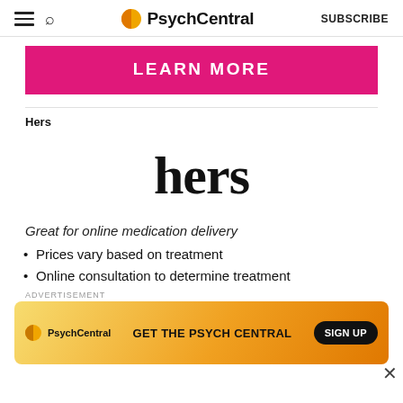PsychCentral  SUBSCRIBE
[Figure (other): Pink banner with LEARN MORE button]
Hers
[Figure (logo): hers brand logo in large serif bold text]
Great for online medication delivery
Prices vary based on treatment
Online consultation to determine treatment
[Figure (screenshot): PsychCentral advertisement banner: GET THE PSYCH CENTRAL - SIGN UP button on yellow/orange gradient background]